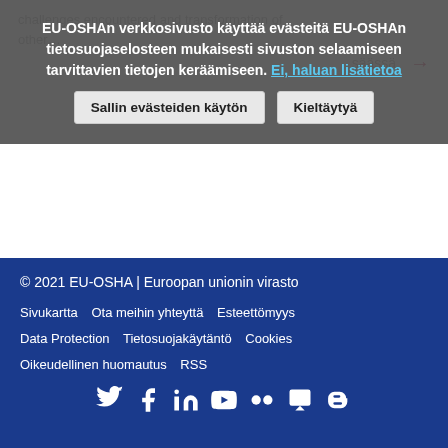EU-OSHAn verkkosivusto käyttää evästeitä EU-OSHAn tietosuojaselosteen mukaisesti sivuston selaamiseen tarvittavien tietojen keräämiseen. Ei, haluan lisätietoa
Sallin evästeiden käytön | Kieltäytyä
1 2 3 ... › »
© 2021 EU-OSHA | Euroopan unionin virasto
Sivukartta   Ota meihin yhteyttä   Esteettömyys
Data Protection   Tietosuojakäytäntö   Cookies
Oikeudellinen huomautus   RSS